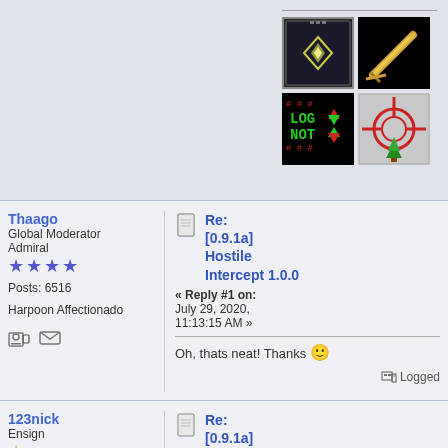[Figure (screenshot): Four game badge/icon images arranged in 2x2 grid. Top-left: dark sci-fi badge with diamond symbol. Top-right: black badge with golden sword/weapon. Bottom-left: green pixel text 'LOG NOT' with red hash symbols. Bottom-right: red crosshair/target sight on grey background.]
Thaago
Global Moderator
Admiral
★★★★
Posts: 6516
Harpoon Affectionado
Re: [0.9.1a] Hostile Intercept 1.0.0
« Reply #1 on: July 29, 2020, 11:13:15 AM »
Oh, thats neat! Thanks 🙂
Logged
123nick
Ensign
☆
Posts: 44
Re: [0.9.1a] Hostile Intercept 1.0.0
« Reply #2 on: July 29, 2020,